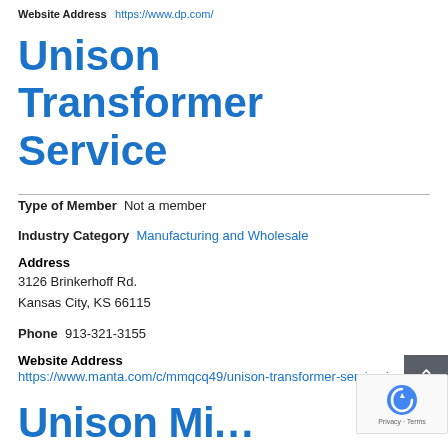Website Address  https://www.dp.com/
Unison Transformer Service
Type of Member  Not a member
Industry Category  Manufacturing and Wholesale
Address
3126 Brinkerhoff Rd.
Kansas City, KS 66115
Phone  913-321-3155
Website Address
https://www.manta.com/c/mmqcq49/unison-transformer-service-inc
Unison Mi...